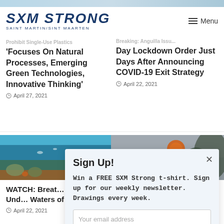SXM STRONG SAINT MARTIN/SINT MAARTEN
Prohibit Single-Use Plastics 'Focuses On Natural Processes, Emerging Green Technologies, Innovative Thinking'
April 27, 2021
Breaking: Anguilla Issues 90-Day Lockdown Order Just Days After Announcing COVID-19 Exit Strategy
April 22, 2021
[Figure (photo): Underwater coral reef photo from Sint Maarten waters]
[Figure (photo): Outdoor photo with orange object and foliage]
WATCH: Breathtaking Incredible Underwater Waters of Saint...
April 22, 2021
Sign Up!
Win a FREE SXM Strong t-shirt. Sign up for our weekly newsletter. Drawings every week.
Your email address
Register Now